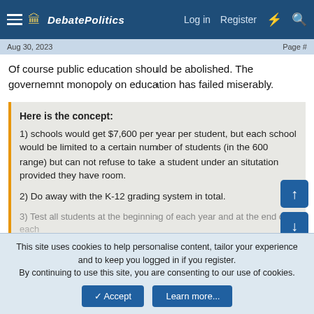DebatePolitics — Log in | Register
Aug 30, 2023 ... Page [n]
Of course public education should be abolished. The governemnt monopoly on education has failed miserably.
Here is the concept:
1) schools would get $7,600 per year per student, but each school would be limited to a certain number of students (in the 600 range) but can not refuse to take a student under an situtation provided they have room.

2) Do away with the K-12 grading system in total.

3) Test all students at the beginning of each year and at the end of each

Click to expand...
This isnt privatization. It still involves government control.
This site uses cookies to help personalise content, tailor your experience and to keep you logged in if you register.
By continuing to use this site, you are consenting to our use of cookies.